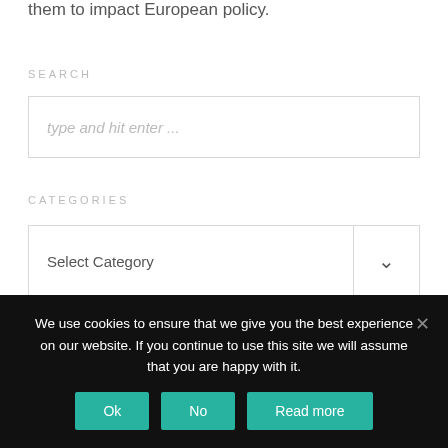them to impact European policy.
SEARCH
type and hit enter ...
CATEGORIES
Select Category
OPEN CALLS
We use cookies to ensure that we give you the best experience on our website. If you continue to use this site we will assume that you are happy with it.